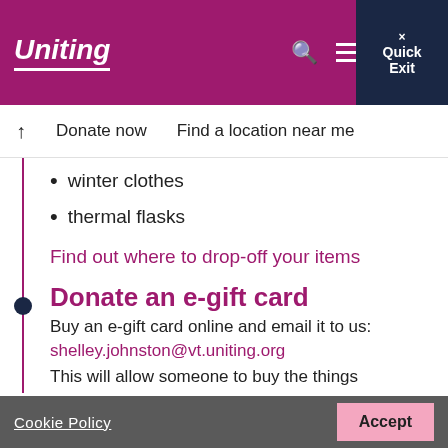Uniting
Donate now   Find a location near me
winter clothes
thermal flasks
Find out where to drop-off your items
Donate an e-gift card
Buy an e-gift card online and email it to us:
shelley.johnston@vt.uniting.org
This will allow someone to buy the things
Cookie Policy   Accept